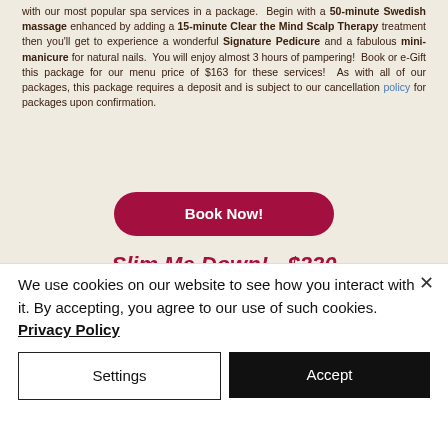with our most popular spa services in a package. Begin with a 50-minute Swedish massage enhanced by adding a 15-minute Clear the Mind Scalp Therapy treatment then you'll get to experience a wonderful Signature Pedicure and a fabulous mini-manicure for natural nails. You will enjoy almost 3 hours of pampering! Book or e-Gift this package for our menu price of $163 for these services! As with all of our packages, this package requires a deposit and is subject to our cancellation policy for packages upon confirmation.
[Figure (other): Book Now! button - rounded rectangle crimson/dark red button with white bold text]
Slim Me Down! - $230
[Figure (photo): Three spa/beauty photos side by side: hands on dark stone massage, person receiving facial/scalp massage, woman with long brown hair]
We use cookies on our website to see how you interact with it. By accepting, you agree to our use of such cookies. Privacy Policy